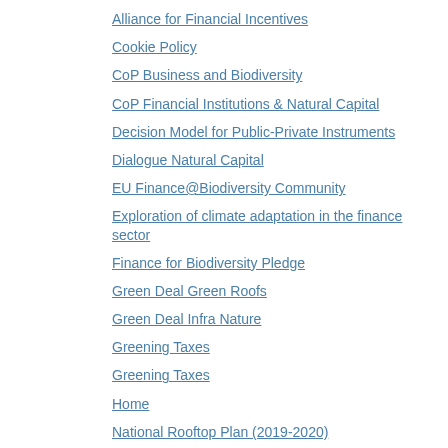Alliance for Financial Incentives
Cookie Policy
CoP Business and Biodiversity
CoP Financial Institutions & Natural Capital
Decision Model for Public-Private Instruments
Dialogue Natural Capital
EU Finance@Biodiversity Community
Exploration of climate adaptation in the finance sector
Finance for Biodiversity Pledge
Green Deal Green Roofs
Green Deal Infra Nature
Greening Taxes
Greening Taxes
Home
National Rooftop Plan (2019-2020)
Natural Capital Foundations